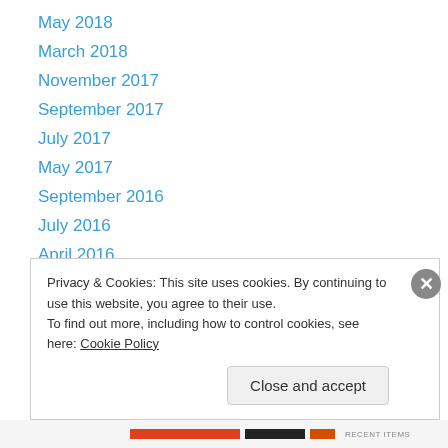May 2018
March 2018
November 2017
September 2017
July 2017
May 2017
September 2016
July 2016
April 2016
March 2016
February 2016
January 2016
November 2015
Privacy & Cookies: This site uses cookies. By continuing to use this website, you agree to their use.
To find out more, including how to control cookies, see here: Cookie Policy
Close and accept